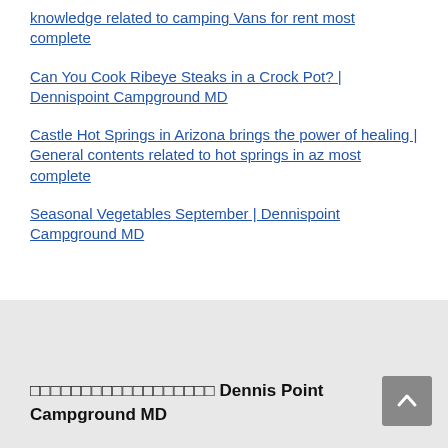knowledge related to camping Vans for rent most complete
Can You Cook Ribeye Steaks in a Crock Pot? | Dennispoint Campground MD
Castle Hot Springs in Arizona brings the power of healing | General contents related to hot springs in az most complete
Seasonal Vegetables September | Dennispoint Campground MD
□□□□□□□□□□□□□□□□□□ Dennis Point Campground MD